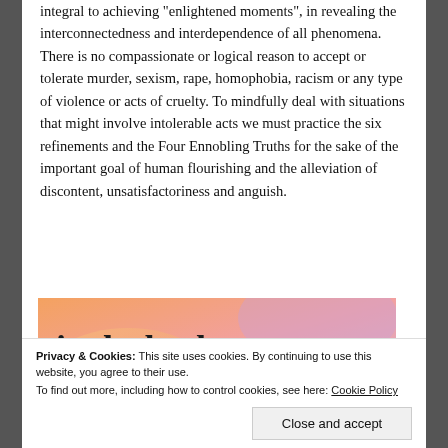integral to achieving "enlightened moments", in revealing the interconnectedness and interdependence of all phenomena. There is no compassionate or logical reason to accept or tolerate murder, sexism, rape, homophobia, racism or any type of violence or acts of cruelty. To mindfully deal with situations that might involve intolerable acts we must practice the six refinements and the Four Ennobling Truths for the sake of the important goal of human flourishing and the alleviation of discontent, unsatisfactoriness and anguish.
[Figure (illustration): Advertisement banner with colorful gradient background (orange, pink, purple) with large bold text 'in the back.' and a logo partially visible at bottom]
Privacy & Cookies: This site uses cookies. By continuing to use this website, you agree to their use.
To find out more, including how to control cookies, see here: Cookie Policy